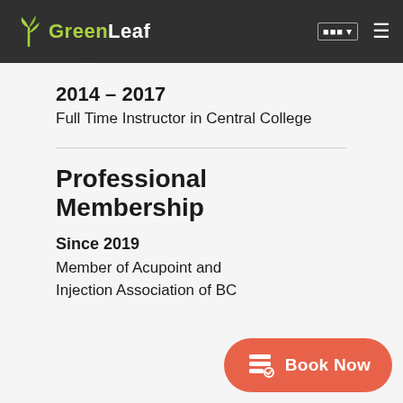GreenLeaf (navigation bar)
2017 – 2018
Senior Education Administrator (SEA) in Central College
2014 – 2017
Full Time Instructor in Central College
Professional Membership
Since 2019
Member of Acupoint and Injection Association of BC